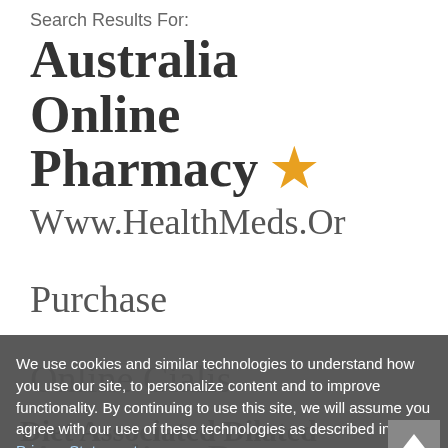Search Results For:
Australia Online Pharmacy ★
Www.HealthMeds.Or
Purchase Online Cialis Australia - Buy Cheap Cialis Australia
We use cookies and similar technologies to understand how you use our site, to personalize content and to improve functionality. By continuing to use this site, we will assume you agree with our use of these technologies as described in the Privacy Statement
Accept and Continue
Diet Associated Dilated